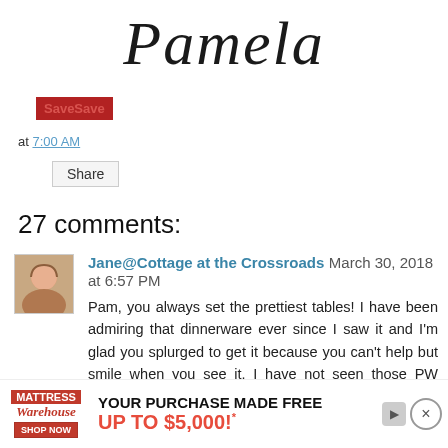[Figure (illustration): Cursive/script signature reading 'Pamela' in large decorative font]
SaveSave
at 7:00 AM
Share
27 comments:
Jane@Cottage at the Crossroads  March 30, 2018 at 6:57 PM
Pam, you always set the prettiest tables! I have been admiring that dinnerware ever since I saw it and I'm glad you splurged to get it because you can't help but smile when you see it. I have not seen those PW goblets but I will look for them. Love how you've layered everything on your table (even if you did have to do it
[Figure (other): Advertisement banner: Mattress Warehouse - YOUR PURCHASE MADE FREE, UP TO $5,000!]